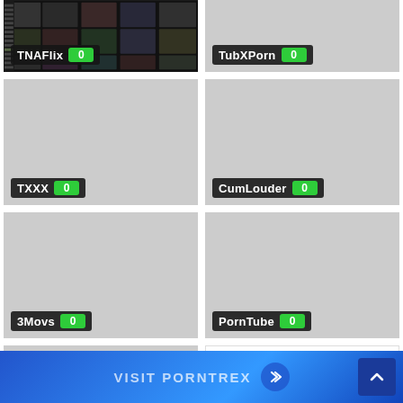[Figure (screenshot): TNAFlix website thumbnail with dark background and video grid, label showing TNAFlix with badge 0]
[Figure (screenshot): TubXPorn website thumbnail, gray placeholder, label showing TubXPorn with badge 0]
[Figure (screenshot): TXXX website thumbnail, gray placeholder, label showing TXXX with badge 0]
[Figure (screenshot): CumLouder website thumbnail, gray placeholder, label showing CumLouder with badge 0]
[Figure (screenshot): 3Movs website thumbnail, gray placeholder, label showing 3Movs with badge 0]
[Figure (screenshot): PornTube website thumbnail, gray placeholder, label showing PornTube with badge 0]
[Figure (screenshot): Partial gray placeholder card at bottom left]
[Figure (screenshot): Partial gotporn website screenshot at bottom right showing top navigation bar]
VISIT PORNTREX